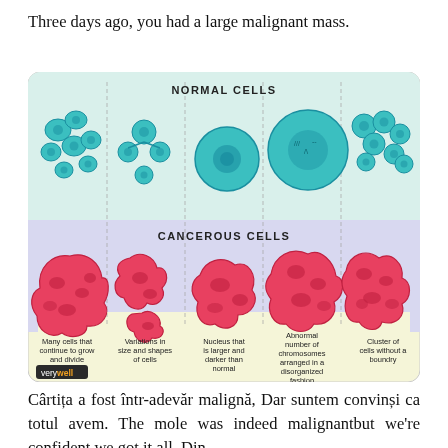Three days ago, you had a large malignant mass.
[Figure (illustration): Diagram comparing Normal Cells (teal/blue rounded cell clusters) vs Cancerous Cells (red irregular masses) with five columns each showing different characteristics. Captions: 'Many cells that continue to grow and divide', 'Variations in size and shapes of cells', 'Nucleus that is larger and darker than normal', 'Abnormal number of chromosomes arranged in a disorganized fashion', 'Cluster of cells without a boundry'. Attributed to 'verywell'.]
Cârtița a fost într-adevăr malignă, Dar suntem convinși ca totul avem. The mole was indeed malignantbut we're confident we got it all. Din